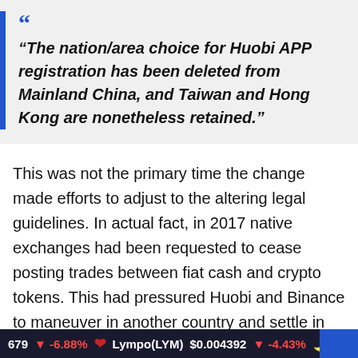“The nation/area choice for Huobi APP registration has been deleted from Mainland China, and Taiwan and Hong Kong are nonetheless retained.”
This was not the primary time the change made efforts to adjust to the altering legal guidelines. In actual fact, in 2017 native exchanges had been requested to cease posting trades between fiat cash and crypto tokens. This had pressured Huobi and Binance to maneuver in another country and settle in Singapore and Malta to proceed their important buying and selling platforms.
679 ▼ -6.88%   Lympo(LYM) $0.004392 ▼ -4.43%   YAM v2(YA...